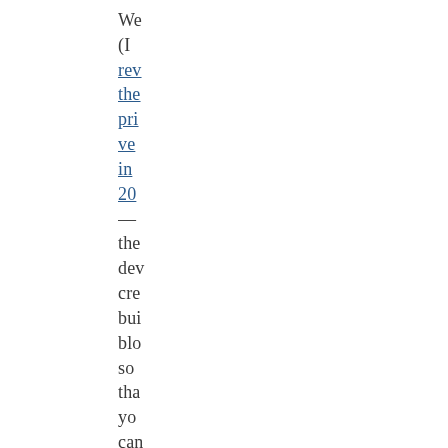We (I reviewed the privacy in 20 — the development created building blocks so that you can cus